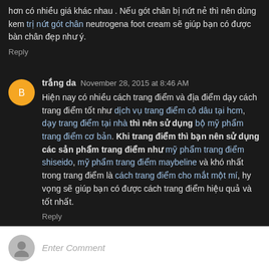hơn có nhiều giá khác nhau . Nếu gót chân bị nứt nẻ thì nên dùng kem trị nứt gót chân neutrogena foot cream sẽ giúp bạn có được bàn chân đẹp như ý.
Reply
trắng da  November 28, 2015 at 8:46 AM
Hiện nay có nhiều cách trang điểm và địa điểm dạy cách trang điểm tốt như dịch vụ trang điểm cô dâu tại hcm, dạy trang điểm tại nhà thì nên sử dụng bộ mỹ phẩm trang điểm cơ bản. Khi trang điểm thì bạn nên sử dụng các sản phẩm trang điểm như mỹ phẩm trang điểm shiseido, mỹ phẩm trang điểm maybeline và khó nhất trong trang điểm là cách trang điểm cho mắt một mí, hy vọng sẽ giúp bạn có được cách trang điểm hiệu quả và tốt nhất.
Reply
Enter Comment